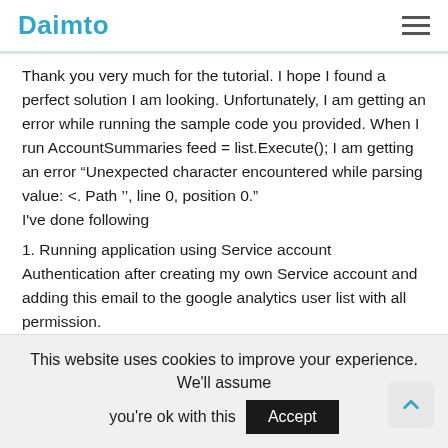Daimto
Thank you very much for the tutorial. I hope I found a perfect solution I am looking. Unfortunately, I am getting an error while running the sample code you provided. When I run AccountSummaries feed = list.Execute(); I am getting an error “Unexpected character encountered while parsing value: <. Path '', line 0, position 0."
I've done following
1. Running application using Service account Authentication after creating my own Service account and adding this email to the google analytics user list with all permission.
2.I'm refering .p12 file from my local "C " drive as @"C:\Projects\Key\MyWebsite-7f016e7c3562.p12";
Can you please give some hint why I'm getting this error ?
Many thanks in advance,
This website uses cookies to improve your experience. We'll assume you're ok with this Accept